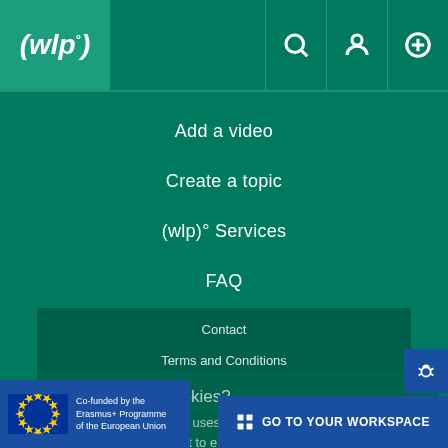[Figure (logo): WLP logo - white italic text (wlp) with degree symbol on teal background]
Add a video
Create a topic
(wlp)° Services
FAQ
Contact
Terms and Conditions
Imprint
Privacy Policy
🍪 Accept site cookies?
the world lecture project uses cookies to improve your site experience. Click accept to enable all features or more information for details. More information
Accept cookies
Customise Cookies
[Figure (logo): EU flag with stars, Co-funded by the Erasmus+ Programme of the European Union]
GO TO YOUR WORKSPACE